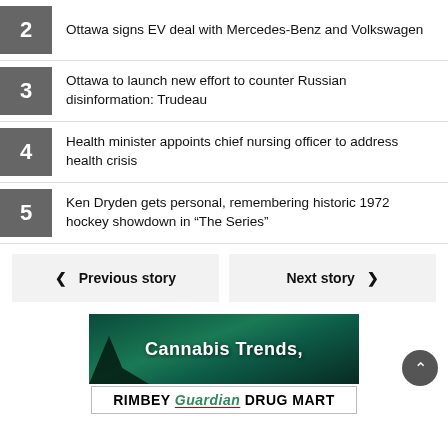2 Ottawa signs EV deal with Mercedes-Benz and Volkswagen
3 Ottawa to launch new effort to counter Russian disinformation: Trudeau
4 Health minister appoints chief nursing officer to address health crisis
5 Ken Dryden gets personal, remembering historic 1972 hockey showdown in “The Series”
< Previous story    Next story >
[Figure (photo): Advertisement banner with dark green northern lights background showing text 'Cannabis Trends,']
RIMBEY Guardian DRUG MART